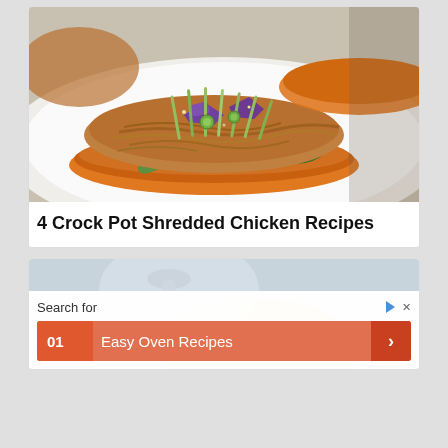[Figure (photo): Close-up photo of shredded chicken on sliced sweet potato bun, topped with purple cabbage, julienned cucumber, green onion slices, and fresh herbs on a white plate]
4 Crock Pot Shredded Chicken Recipes
[Figure (photo): Partial photo of a bowl or plate with food, partially obscured by an advertisement overlay]
Search for
01  Easy Oven Recipes  ›